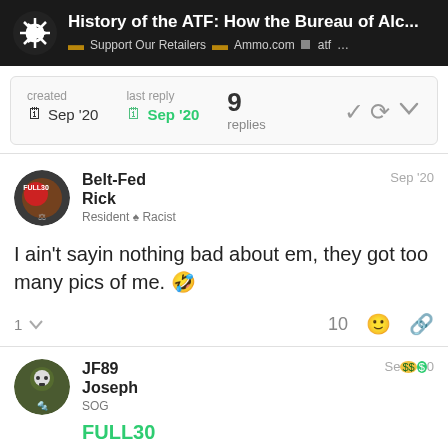History of the ATF: How the Bureau of Alc... | Support Our Retailers | Ammo.com | atf | ...
created Sep '20   last reply Sep '20   9 replies
Belt-Fed Rick
Resident ♠ Racist
Sep '20
I ain't sayin nothing bad about em, they got too many pics of me. 🤣
1  10
JF89 Joseph
SOG
Sep '20
FULL30